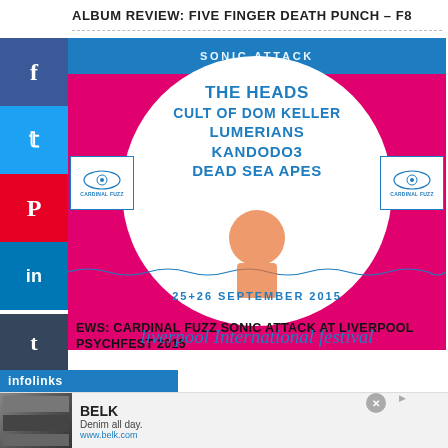ALBUM REVIEW: FIVE FINGER DEATH PUNCH – F8
[Figure (photo): Liverpool International Festival of Psychedelia 2015 poster featuring The Heads, Cult of Dom Keller, Lumerians, Kandodo3, Dead Sea Apes. 25+26 September 2015.]
EWS: CARDINAL FUZZ SONIC ATTACK AT LIVERPOOL PSYCHFEST 2015
[Figure (screenshot): Advertisement banner for Belk showing denim clothing. Text: BELK, Denim all day., www.belk.com]